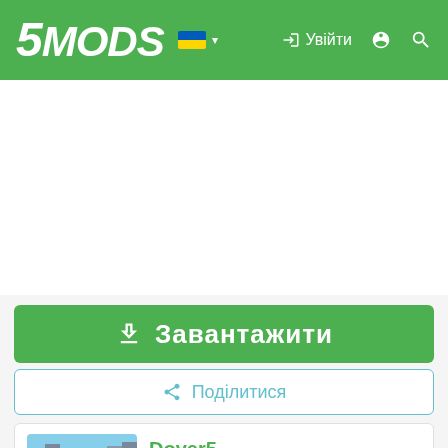5MODS — Увійти
[Figure (screenshot): Advertisement or blank white area below header]
Завантажити
Поділитися
Dover5